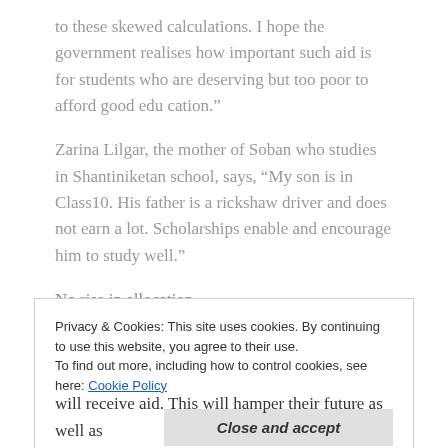to these skewed calculations. I hope the government realises how important such aid is for students who are deserving but too poor to afford good edu cation."
Zarina Lilgar, the mother of Soban who studies in Shantiniketan school, says, “My son is in Class10. His father is a rickshaw driver and does not earn a lot. Scholarships enable and encourage him to study well.”
No rise in allocation
Privacy & Cookies: This site uses cookies. By continuing to use this website, you agree to their use.
To find out more, including how to control cookies, see here: Cookie Policy
will receive aid. This will hamper their future as well as